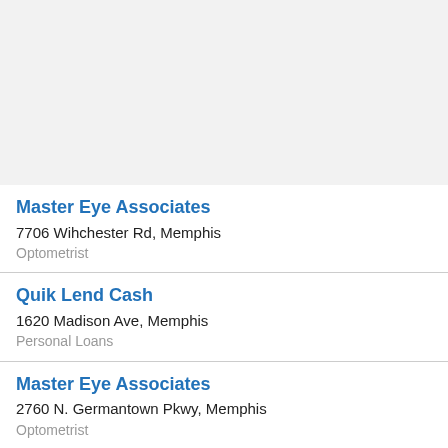Master Eye Associates
7706 Wihchester Rd, Memphis
Optometrist
Quik Lend Cash
1620 Madison Ave, Memphis
Personal Loans
Master Eye Associates
2760 N. Germantown Pkwy, Memphis
Optometrist
Sona MedSpa of Memphis